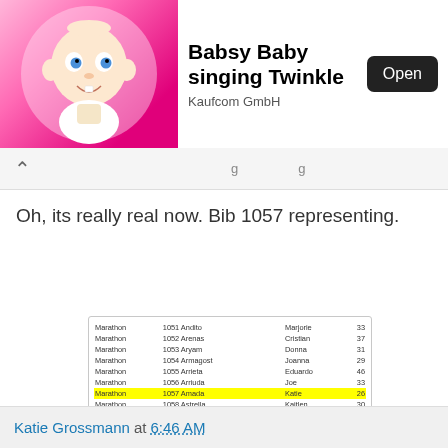[Figure (screenshot): Ad banner for 'Babsy Baby singing Twinkle' app by Kaufcom GmbH with pink baby illustration and Open button]
Oh, its really real now. Bib 1057 representing.
[Figure (screenshot): Screenshot of a marathon bib assignment table. Row for Bib 1057, Amada, Katie is highlighted in yellow. Other rows list Marathon entries from bib 1051-1062.]
Katie Grossmann at 6:46 AM